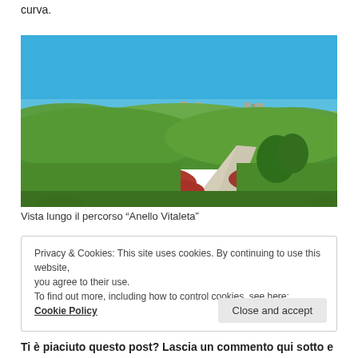curva.
[Figure (photo): Landscape photo of rolling green hills with a white gravel path winding through red wildflowers under a bright blue sky, with a town visible in the background. Photo taken along the 'Anello Vitaleta' trail in Tuscany, Italy.]
Vista lungo il percorso “Anello Vitaleta”
Privacy & Cookies: This site uses cookies. By continuing to use this website, you agree to their use.
To find out more, including how to control cookies, see here: Cookie Policy
Ti è piaciuto questo post? Lascia un commento qui sotto e